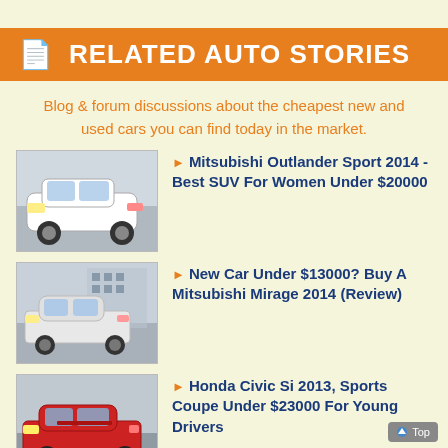RELATED AUTO STORIES
Blog & forum discussions about the cheapest new and used cars you can find today in the market.
Mitsubishi Outlander Sport 2014 - Best SUV For Women Under $20000
New Car Under $13000? Buy A Mitsubishi Mirage 2014 (Review)
Honda Civic Si 2013, Sports Coupe Under $23000 For Young Drivers